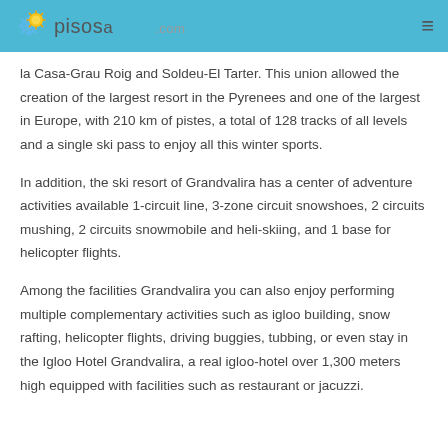pisosadias.com
la Casa-Grau Roig and Soldeu-El Tarter. This union allowed the creation of the largest resort in the Pyrenees and one of the largest in Europe, with 210 km of pistes, a total of 128 tracks of all levels and a single ski pass to enjoy all this winter sports.
In addition, the ski resort of Grandvalira has a center of adventure activities available 1-circuit line, 3-zone circuit snowshoes, 2 circuits mushing, 2 circuits snowmobile and heli-skiing, and 1 base for helicopter flights.
Among the facilities Grandvalira you can also enjoy performing multiple complementary activities such as igloo building, snow rafting, helicopter flights, driving buggies, tubbing, or even stay in the Igloo Hotel Grandvalira, a real igloo-hotel over 1,300 meters high equipped with facilities such as restaurant or jacuzzi.